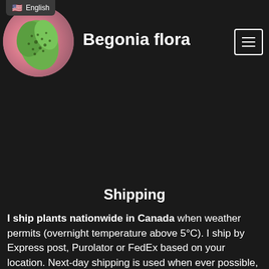English
Begonia flora
[Figure (logo): Circular logo with a green leafy begonia plant illustration on a pink/salmon gradient background]
Shipping
I ship plants nationwide in Canada when weather permits (overnight temperature above 5°C). I ship by Express post, Purolator or FedEx based on your location. Next-day shipping is used when ever possible, but based